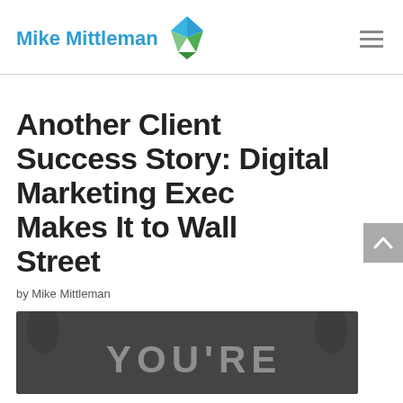Mike Mittleman
Another Client Success Story: Digital Marketing Exec Makes It to Wall Street
by Mike Mittleman
[Figure (photo): Dark chalkboard background photo with text 'YOU'RE' visible in chalk lettering]